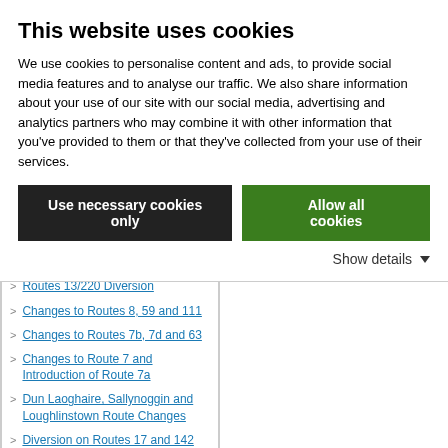This website uses cookies
We use cookies to personalise content and ads, to provide social media features and to analyse our traffic. We also share information about your use of our site with our social media, advertising and analytics partners who may combine it with other information that you've provided to them or that they've collected from your use of their services.
Use necessary cookies only | Allow all cookies
Show details
27,77a,56a,68,151
Molesworth St. Closure
Routes 13/220 Diversion
Changes to Routes 8, 59 and 111
Changes to Routes 7b, 7d and 63
Changes to Route 7 and Introduction of Route 7a
Dun Laoghaire, Sallynoggin and Loughlinstown Route Changes
Diversion on Routes 17 and 142
Diversion on Route 32x
Route 33 Diversion